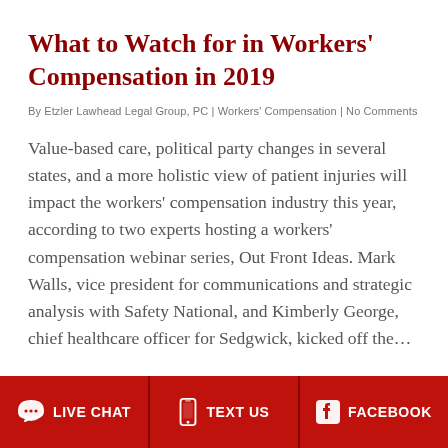What to Watch for in Workers' Compensation in 2019
By Etzler Lawhead Legal Group, PC | Workers' Compensation | No Comments
Value-based care, political party changes in several states, and a more holistic view of patient injuries will impact the workers' compensation industry this year, according to two experts hosting a workers' compensation webinar series, Out Front Ideas. Mark Walls, vice president for communications and strategic analysis with Safety National, and Kimberly George, chief healthcare officer for Sedgwick, kicked off the…
Read More
LIVE CHAT | TEXT US | FACEBOOK